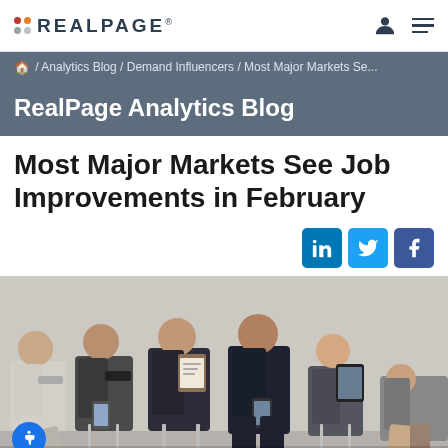RealPage logo and navigation bar
/ Analytics Blog / Demand Influencers / Most Major Markets Se...
RealPage Analytics Blog
Most Major Markets See Job Improvements in February
[Figure (photo): Group of business professionals sitting in chairs, waiting, holding phones and tablets, viewed from waist down]
Social share buttons: LinkedIn, Twitter, Facebook